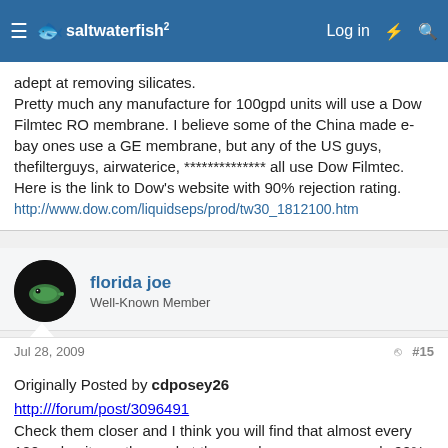saltwaterfish - navigation bar
adept at removing silicates.
Pretty much any manufacture for 100gpd units will use a Dow Filmtec RO membrane. I believe some of the China made e-bay ones use a GE membrane, but any of the US guys, thefilterguys, airwaterice, ************** all use Dow Filmtec.
Here is the link to Dow's website with 90% rejection rating.
http://www.dow.com/liquidseps/prod/tw30_1812100.htm
florida joe
Well-Known Member
Jul 28, 2009  #15
Originally Posted by cdposey26
http:///forum/post/3096491
Check them closer and I think you will find that almost every 100gpd units on the market the membrane removes only 90% of TDS
I have been looking with not luck can you post a link or give me